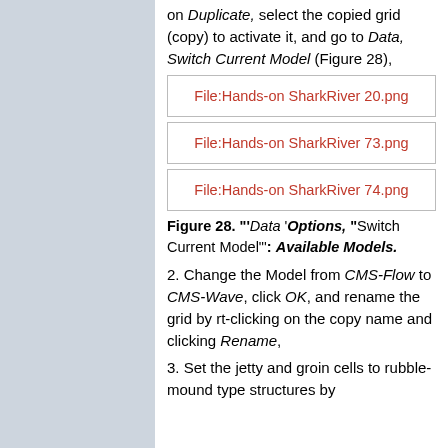on Duplicate, select the copied grid (copy) to activate it, and go to Data, Switch Current Model (Figure 28),
[Figure (other): Placeholder image box labeled File:Hands-on SharkRiver 20.png]
[Figure (other): Placeholder image box labeled File:Hands-on SharkRiver 73.png]
[Figure (other): Placeholder image box labeled File:Hands-on SharkRiver 74.png]
Figure 28. "'Data 'Options, "Switch Current Model"': Available Models.
2. Change the Model from CMS-Flow to CMS-Wave, click OK, and rename the grid by rt-clicking on the copy name and clicking Rename,
3. Set the jetty and groin cells to rubble-mound type structures by